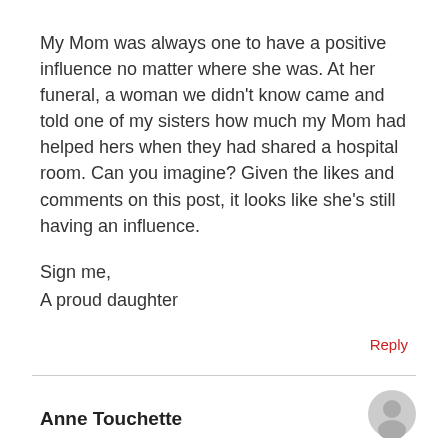My Mom was always one to have a positive influence no matter where she was. At her funeral, a woman we didn't know came and told one of my sisters how much my Mom had helped hers when they had shared a hospital room. Can you imagine? Given the likes and comments on this post, it looks like she's still having an influence.

Sign me,
A proud daughter
Reply
Anne Touchette